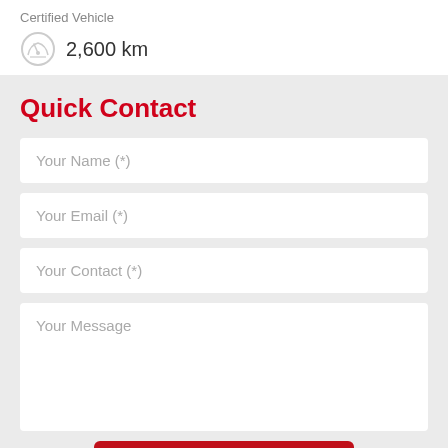Certified Vehicle
2,600 km
Quick Contact
Your Name (*)
Your Email (*)
Your Contact (*)
Your Message
Book Now